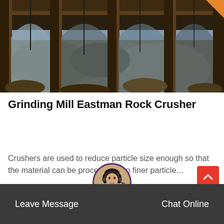[Figure (photo): Industrial grinding mill / rock crusher machine with arched metal frame structure, outdoor setting with rocks and debris visible]
Grinding Mill Eastman Rock Crusher
Crushers are used to reduce particle size enough so that the material can be processed into finer particle…
Release Time : Feb
Leave Message    Chat Online